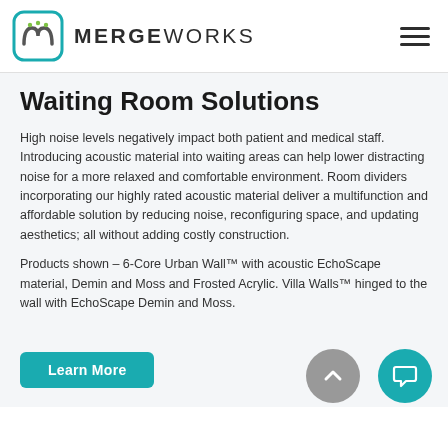MERGEWORKS
Waiting Room Solutions
High noise levels negatively impact both patient and medical staff. Introducing acoustic material into waiting areas can help lower distracting noise for a more relaxed and comfortable environment. Room dividers incorporating our highly rated acoustic material deliver a multifunction and affordable solution by reducing noise, reconfiguring space, and updating aesthetics; all without adding costly construction.
Products shown – 6-Core Urban Wall™ with acoustic EchoScape material, Demin and Moss and Frosted Acrylic. Villa Walls™ hinged to the wall with EchoScape Demin and Moss.
Learn More